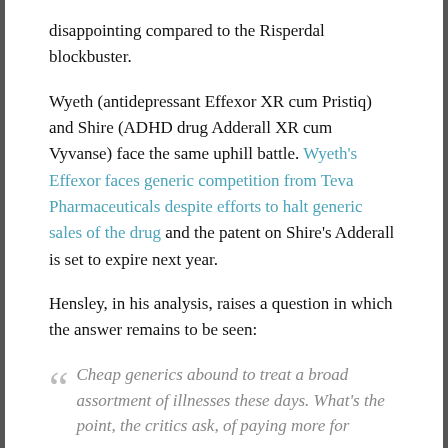disappointing compared to the Risperdal blockbuster.
Wyeth (antidepressant Effexor XR cum Pristiq) and Shire (ADHD drug Adderall XR cum Vyvanse) face the same uphill battle. Wyeth's Effexor faces generic competition from Teva Pharmaceuticals despite efforts to halt generic sales of the drug and the patent on Shire's Adderall is set to expire next year.
Hensley, in his analysis, raises a question in which the answer remains to be seen:
Cheap generics abound to treat a broad assortment of illnesses these days. What's the point, the critics ask, of paying more for